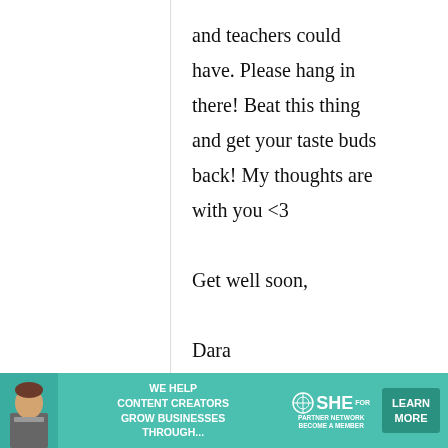and teachers could have. Please hang in there! Beat this thing and get your taste buds back! My thoughts are with you <3

Get well soon,

Dara
Cherisan
14 April, 2012 -
Thinking and
[Figure (screenshot): Advertisement banner: WE HELP CONTENT CREATORS GROW BUSINESSES THROUGH... SHE PARTNER NETWORK BECOME A MEMBER - LEARN MORE button]